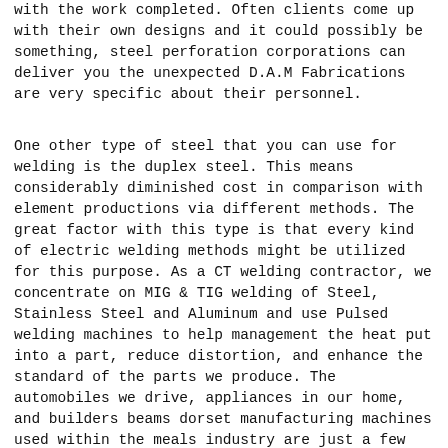with the work completed. Often clients come up with their own designs and it could possibly be something, steel perforation corporations can deliver you the unexpected D.A.M Fabrications are very specific about their personnel.
One other type of steel that you can use for welding is the duplex steel. This means considerably diminished cost in comparison with element productions via different methods. The great factor with this type is that every kind of electric welding methods might be utilized for this purpose. As a CT welding contractor, we concentrate on MIG & TIG welding of Steel, Stainless Steel and Aluminum and use Pulsed welding machines to help management the heat put into a part, reduce distortion, and enhance the standard of the parts we produce. The automobiles we drive, appliances in our home, and builders beams dorset manufacturing machines used within the meals industry are just a few examples of applications we generally use. Automobile engines embrace strong machined elements which can be interlocked to ensure their correct functioning. Finally, the time comes for i beam size and weight chart pdf assembling the melded metal elements to create complete structures Reuse of supplies means extending metallic service whereas minimizing scrap, waste, and associated emissions. Though they don't seem